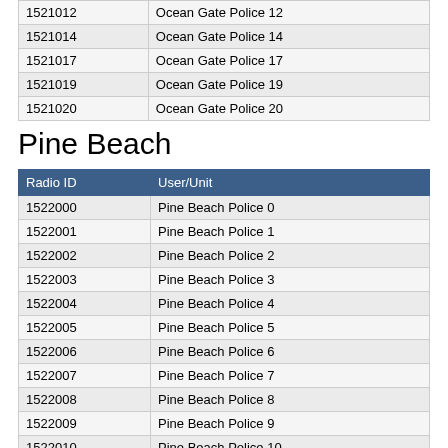| Radio ID | User/Unit |
| --- | --- |
| 1521012 | Ocean Gate Police 12 |
| 1521014 | Ocean Gate Police 14 |
| 1521017 | Ocean Gate Police 17 |
| 1521019 | Ocean Gate Police 19 |
| 1521020 | Ocean Gate Police 20 |
Pine Beach
| Radio ID | User/Unit |
| --- | --- |
| 1522000 | Pine Beach Police 0 |
| 1522001 | Pine Beach Police 1 |
| 1522002 | Pine Beach Police 2 |
| 1522003 | Pine Beach Police 3 |
| 1522004 | Pine Beach Police 4 |
| 1522005 | Pine Beach Police 5 |
| 1522006 | Pine Beach Police 6 |
| 1522007 | Pine Beach Police 7 |
| 1522008 | Pine Beach Police 8 |
| 1522009 | Pine Beach Police 9 |
| 1522010 | Pine Beach Police 10 |
| 1522011 | Pine Beach Police 11 |
| 1522012 | Pine Beach Police 12 |
Plumsted Township